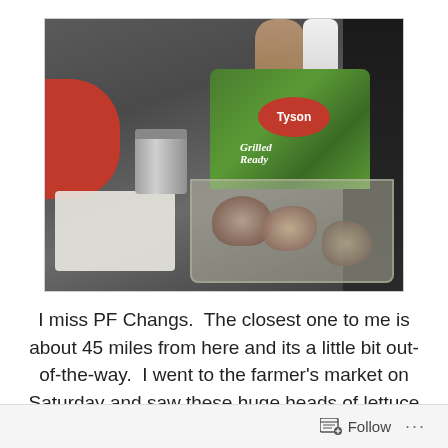[Figure (photo): Kitchen counter photo showing a Tyson Grilled & Ready chicken bag with mushrooms inside, a small can with a spoon, a red bowl on the left, a white cutting board, and a stove on the right.]
I miss PF Changs.  The closest one to me is about 45 miles from here and its a little bit out-of-the-way.  I went to the farmer's market on Saturday and saw these huge heads of lettuce and they reminded me of the lettuce
Follow ...